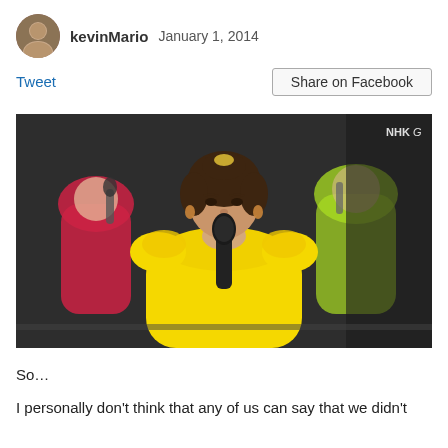kevinMario  January 1, 2014
Tweet
Share on Facebook
[Figure (photo): A woman in a yellow ruffled dress singing into a microphone on stage. Behind her are other performers in colorful costumes including pink and yellow-green. NHK G watermark visible in upper right.]
So…
I personally don't think that any of us can say that we didn't